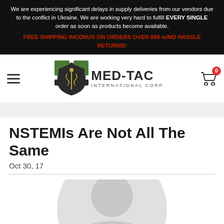We are experiencing significant delays in supply deliveries from our vendors due to the conflict in Ukraine. We are working very hard to fulfill EVERY SINGLE order as soon as products become available.
FREE SHIPPING INCONUS ON ORDERS OVER $99 w/NO HASSLE RETURNS!
[Figure (logo): MED-TAC International Corp. logo with shield and caduceus emblem]
NSTEMIs Are Not All The Same
Oct 30, 17
[Figure (photo): Partially visible circular avatar/profile image at bottom of page]